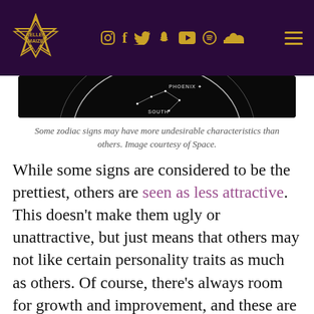Kellee Maize — social media navigation header
[Figure (screenshot): Constellation star map image showing Phoenix and South labels on dark background]
Some zodiac signs may have more undesirable characteristics than others. Image courtesy of Space.
While some signs are considered to be the prettiest, others are seen as less attractive. This doesn't make them ugly or unattractive, but just means that others may not like certain personality traits as much as others. Of course, there's always room for growth and improvement, and these are just generalizations.